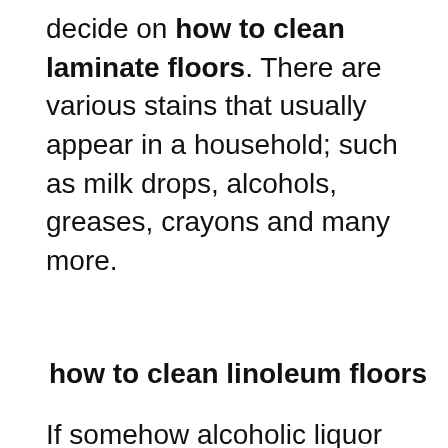decide on how to clean laminate floors. There are various stains that usually appear in a household; such as milk drops, alcohols, greases, crayons and many more.
how to clean linoleum floors
If somehow alcoholic liquor falls onto the laminate